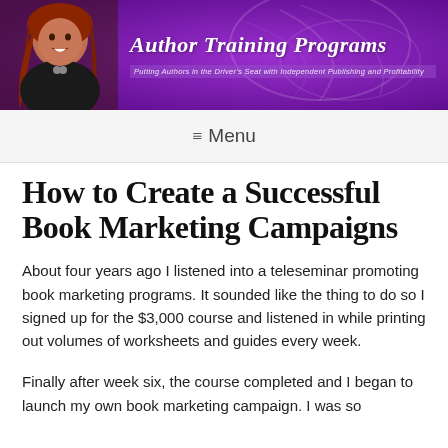[Figure (illustration): Author Training Programs website banner with a woman with red hair on the left side, purple gradient background with decorative swirls, italic text 'Author Training Programs' in white, and subtitle 'Putting Authors in the Driver's Seat with Independent Publishing and Profitability']
≡ Menu
How to Create a Successful Book Marketing Campaign
About four years ago I listened into a teleseminar promoting book marketing programs. It sounded like the thing to do so I signed up for the $3,000 course and listened in while printing out volumes of worksheets and guides every week.
Finally after week six, the course completed and I began to launch my own book marketing campaign. I was so